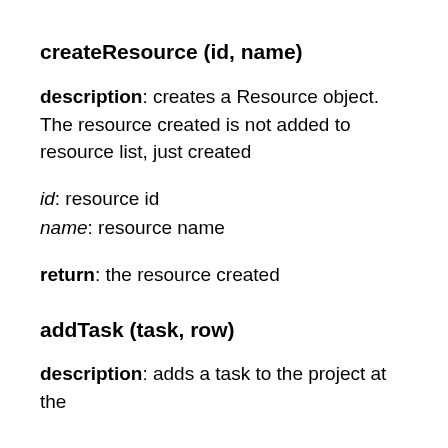createResource (id, name)
description: creates a Resource object. The resource created is not added to resource list, just created
id: resource id
name: resource name
return: the resource created
addTask (task, row)
description: adds a task to the project at the